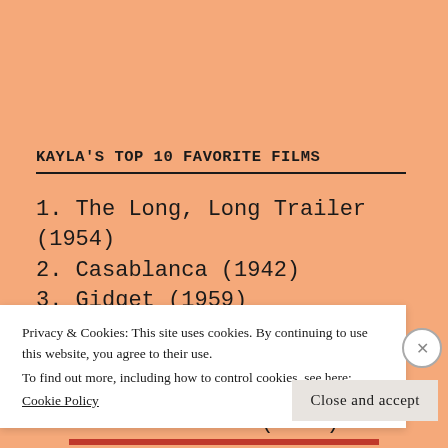KAYLA'S TOP 10 FAVORITE FILMS
1. The Long, Long Trailer (1954)
2. Casablanca (1942)
3. Gidget (1959)
4. Meet Me in St. Louis (1944)
5. Mildred Pierce (1945)
6. Gentleman Jim (1942)
Privacy & Cookies: This site uses cookies. By continuing to use this website, you agree to their use.
To find out more, including how to control cookies, see here: Cookie Policy
Close and accept